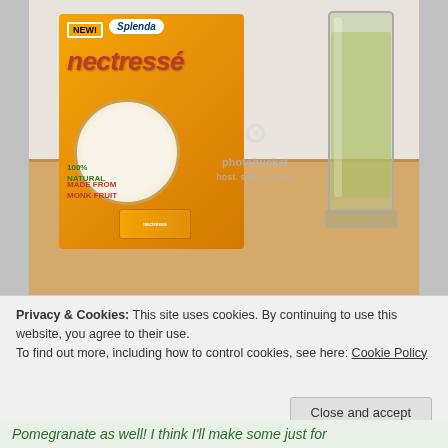[Figure (photo): Photo of a Splenda Nectresse natural sweetener orange box (100% Natural, Made from Monk Fruit) next to a tall glass of yellowish-green liquid on a countertop. A Photobucket watermark overlay is visible on the image.]
Privacy & Cookies: This site uses cookies. By continuing to use this website, you agree to their use.
To find out more, including how to control cookies, see here: Cookie Policy
Close and accept
Pomegranate as well! I think I'll make some just for